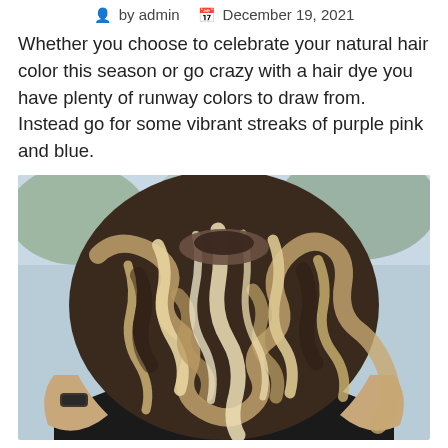by admin   December 19, 2021
Whether you choose to celebrate your natural hair color this season or go crazy with a hair dye you have plenty of runway colors to draw from. Instead go for some vibrant streaks of purple pink and blue.
[Figure (photo): Back view of a person with long wavy hair showing balayage highlights — dark roots blending into blonde and light brown waves, person has arms raised up, wearing a dark top, outdoors background with greenery and sky.]